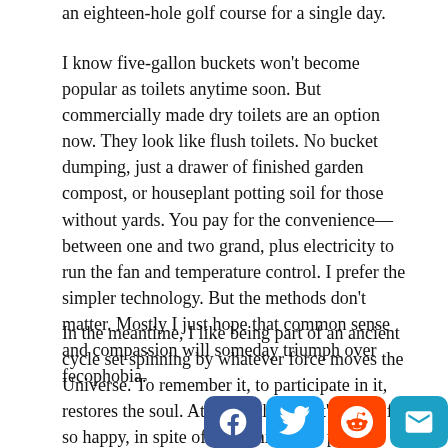an eighteen-hole golf course for a single day.
I know five-gallon buckets won't become popular as toilets anytime soon. But commercially made dry toilets are an option now. They look like flush toilets. No bucket dumping, just a drawer of finished garden compost, or houseplant potting soil for those without yards. You pay for the convenience—between one and two grand, plus electricity to run the fan and temperature control. I prefer the simpler technology. But the methods don't matter. Mostly I just hope that common sense and compassion will someday triumph over fecophobia.
In the meantime, I like being part of an ancient cycle set spinning by whatever force moves the Universe. To remember it, to participate in it, restores the soul. At least I think that's why I feel so happy, in spite of everything, as I pick my dinner from the coffee-colored earth.